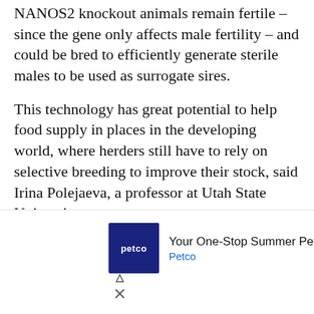NANOS2 knockout animals remain fertile – since the gene only affects male fertility – and could be bred to efficiently generate sterile males to be used as surrogate sires.
This technology has great potential to help food supply in places in the developing world, where herders still have to rely on selective breeding to improve their stock, said Irina Polejaeva, a professor at Utah State University.
“Goats are the number one source of protein in a lot of developing countries,” Polejaeva said. “This technology could allow faster dissemination of specific traits in goats, whether it’s disease resistance, greater heat tolerance or better meat
[Figure (screenshot): Petco advertisement banner: 'Your One-Stop Summer Pet Shop' with Petco logo and diamond arrow icon]